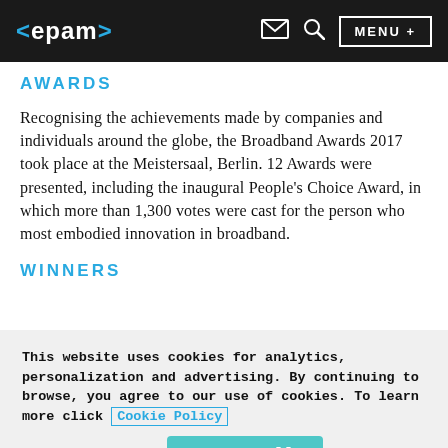<epam> [mail icon] [search icon] MENU +
AWARDS
Recognising the achievements made by companies and individuals around the globe, the Broadband Awards 2017 took place at the Meistersaal, Berlin. 12 Awards were presented, including the inaugural People's Choice Award, in which more than 1,300 votes were cast for the person who most embodied innovation in broadband.
WINNERS
This website uses cookies for analytics, personalization and advertising. By continuing to browse, you agree to our use of cookies. To learn more click Cookie Policy
Cookies Settings   Accept All